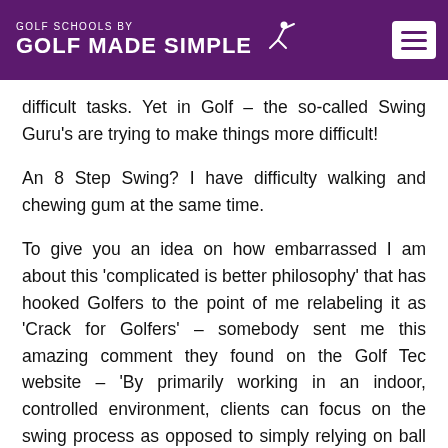GOLF SCHOOLS BY GOLF MADE SIMPLE
difficult tasks. Yet in Golf – the so-called Swing Guru's are trying to make things more difficult!
An 8 Step Swing? I have difficulty walking and chewing gum at the same time.
To give you an idea on how embarrassed I am about this 'complicated is better philosophy' that has hooked Golfers to the point of me relabeling it as 'Crack for Golfers' – somebody sent me this amazing comment they found on the Golf Tec website – 'By primarily working in an indoor, controlled environment, clients can focus on the swing process as opposed to simply relying on ball flight. By ignoring ball flight in some of (the) lessons, clients can